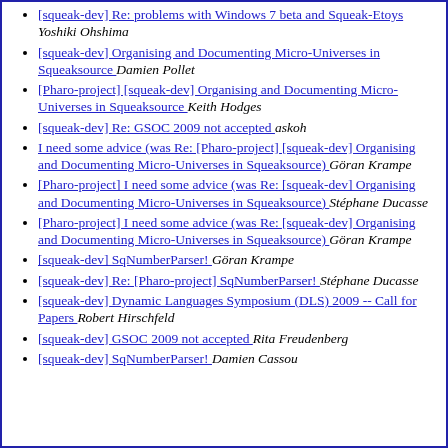[squeak-dev] Re: problems with Windows 7 beta and Squeak-Etoys  Yoshiki Ohshima
[squeak-dev] Organising and Documenting Micro-Universes in Squeaksource  Damien Pollet
[Pharo-project] [squeak-dev] Organising and Documenting Micro-Universes in Squeaksource  Keith Hodges
[squeak-dev] Re: GSOC 2009 not accepted  askoh
I need some advice (was Re: [Pharo-project] [squeak-dev] Organising and Documenting Micro-Universes in Squeaksource)  Göran Krampe
[Pharo-project] I need some advice (was Re: [squeak-dev] Organising and Documenting Micro-Universes in Squeaksource)  Stéphane Ducasse
[Pharo-project] I need some advice (was Re: [squeak-dev] Organising and Documenting Micro-Universes in Squeaksource)  Göran Krampe
[squeak-dev] SqNumberParser!  Göran Krampe
[squeak-dev] Re: [Pharo-project] SqNumberParser!  Stéphane Ducasse
[squeak-dev] Dynamic Languages Symposium (DLS) 2009 -- Call for Papers  Robert Hirschfeld
[squeak-dev] GSOC 2009 not accepted  Rita Freudenberg
[squeak-dev] SqNumberParser!  Damien Cassou